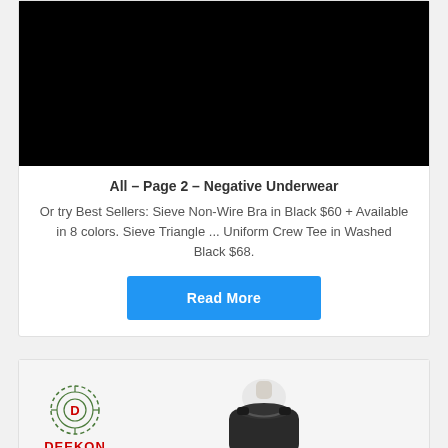[Figure (photo): Black rectangle image, appears to be a product/page screenshot with black background]
All – Page 2 – Negative Underwear
Or try Best Sellers: Sieve Non-Wire Bra in Black $60 + Available in 8 colors. Sieve Triangle ... Uniform Crew Tee in Washed Black $68.
Read More
[Figure (logo): Deekon logo with circular target/crosshair design and red DEEKON text, alongside a product image of a mannequin torso with black garment]